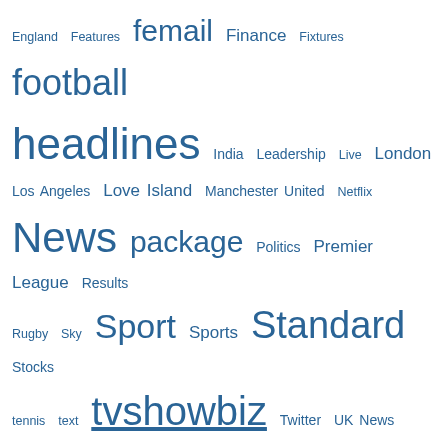England Features femail Finance Fixtures football headlines India Leadership Live London Los Angeles Love Island Manchester United Netflix News package Politics Premier League Results Rugby Sky Sport Sports Standard Stocks tennis text tvshowbiz Twitter UK News video watch wimbledon
We use cookies on our website to give you the most relevant experience by remembering your preferences and repeat visits. By clicking “Accept All”, you consent to the use of ALL the cookies. However, you may visit "Cookie Settings" to provide a controlled consent.